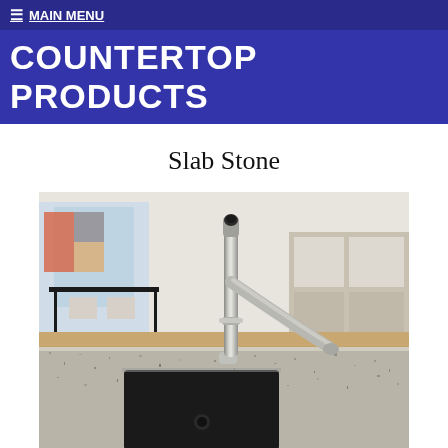≡ MAIN MENU
COUNTERTOP PRODUCTS
Slab Stone
[Figure (photo): Close-up photograph of a granite stone countertop with a stainless steel kitchen faucet and black undermount sink, with a modern kitchen showroom visible in the background]